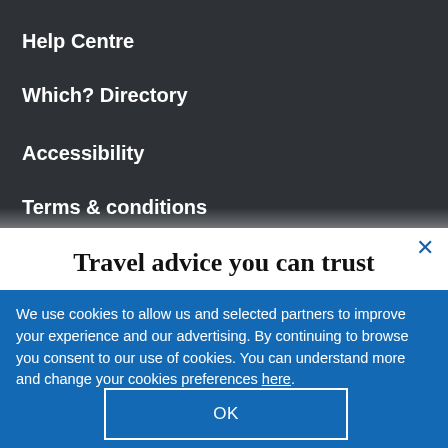Help Centre
Which? Directory
Accessibility
Terms & conditions
Travel advice you can trust
We use cookies to allow us and selected partners to improve your experience and our advertising. By continuing to browse you consent to our use of cookies. You can understand more and change your cookies preferences here.
OK